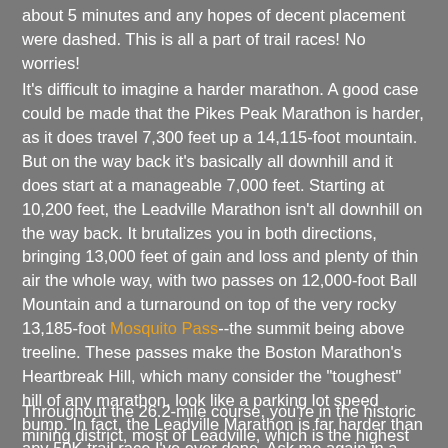about 5 minutes and any hopes of decent placement were dashed. This is all a part of trail races! No worries!
It's difficult to imagine a harder marathon. A good case could be made that the Pikes Peak Marathon is harder, as it does travel 7,300 feet up a 14,115-foot mountain. But on the way back it's basically all downhill and it does start at a manageable 7,000 feet. Starting at 10,200 feet, the Leadville Marathon isn't all downhill on the way back. It brutalizes you in both directions, bringing 13,000 feet of gain and loss and plenty of thin air the whole way, with two passes on 12,000-foot Ball Mountain and a turnaround on top of the very rocky 13,185-foot Mosquito Pass--the summit being above treeline. These passes make the Boston Marathon's Heartbreak Hill, which many consider the "toughest" hill of any marathon, look like a parking lot speed bump. In fact, the Leadville Marathon is far harder than any 50K trail race I've ever done. Ask me again in a year or two what the hardest marathon or 50K I've done is and my answer may be different than it is now. For now, it's the Leadville Marathon.
Throughout the 26.2-mile course, you're in the historic mining district, most of Leadville, which is the highest...